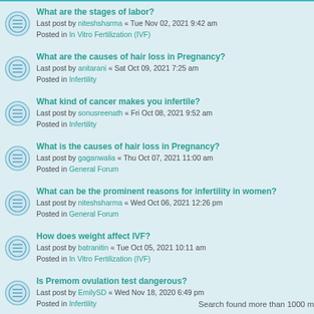What are the stages of labor? Last post by niteshsharma « Tue Nov 02, 2021 9:42 am Posted in In Vitro Fertilization (IVF)
What are the causes of hair loss in Pregnancy? Last post by anitarani « Sat Oct 09, 2021 7:25 am Posted in Infertility
What kind of cancer makes you infertile? Last post by sonusreenath « Fri Oct 08, 2021 9:52 am Posted in Infertility
What is the causes of hair loss in Pregnancy? Last post by gaganwalia « Thu Oct 07, 2021 11:00 am Posted in General Forum
What can be the prominent reasons for infertility in women? Last post by niteshsharma « Wed Oct 06, 2021 12:26 pm Posted in General Forum
How does weight affect IVF? Last post by batranitin « Tue Oct 05, 2021 10:11 am Posted in In Vitro Fertilization (IVF)
Is Premom ovulation test dangerous? Last post by EmilySD « Wed Nov 18, 2020 6:49 pm Posted in Infertility
Search found more than 1000 m